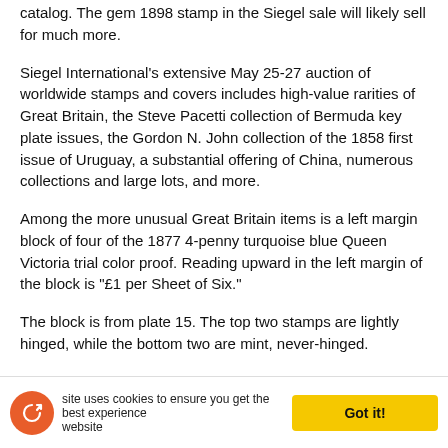catalog. The gem 1898 stamp in the Siegel sale will likely sell for much more.
Siegel International's extensive May 25-27 auction of worldwide stamps and covers includes high-value rarities of Great Britain, the Steve Pacetti collection of Bermuda key plate issues, the Gordon N. John collection of the 1858 first issue of Uruguay, a substantial offering of China, numerous collections and large lots, and more.
Among the more unusual Great Britain items is a left margin block of four of the 1877 4-penny turquoise blue Queen Victoria trial color proof. Reading upward in the left margin of the block is "£1 per Sheet of Six."
The block is from plate 15. The top two stamps are lightly hinged, while the bottom two are mint, never-hinged.
Siegel International is offering this attractive Queen Victoria trial color proof multiple with an estimate of $300
site uses cookies to ensure you get the best experience   website
Got it!